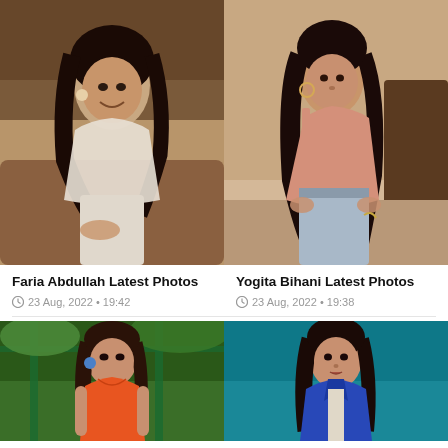[Figure (photo): Faria Abdullah smiling, wearing white sheer top and white pants, dark curly hair, sitting in a cafe setting]
[Figure (photo): Yogita Bihani in a peach/salmon one-shoulder top and jeans, sitting against a beige wall]
Faria Abdullah Latest Photos
23 Aug, 2022 • 19:42
Yogita Bihani Latest Photos
23 Aug, 2022 • 19:38
[Figure (photo): Woman in orange swimwear/bikini top with blue earrings, outdoors with green background]
[Figure (photo): Woman in blue jacket against teal/turquoise background, looking at camera]